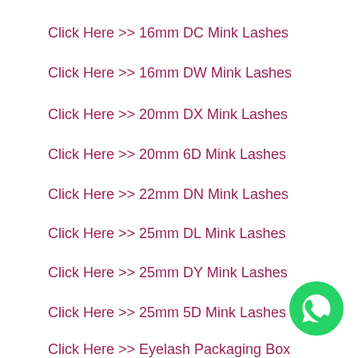Click Here >> 16mm DC Mink Lashes
Click Here >> 16mm DW Mink Lashes
Click Here >> 20mm DX Mink Lashes
Click Here >> 20mm 6D Mink Lashes
Click Here >> 22mm DN Mink Lashes
Click Here >> 25mm DL Mink Lashes
Click Here >> 25mm DY Mink Lashes
Click Here >> 25mm 5D Mink Lashes
Click Here >> Eyelash Packaging Box
[Figure (logo): WhatsApp green circular button icon]